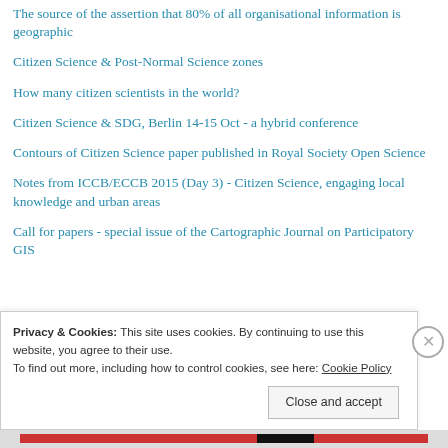The source of the assertion that 80% of all organisational information is geographic
Citizen Science & Post-Normal Science zones
How many citizen scientists in the world?
Citizen Science & SDG, Berlin 14-15 Oct - a hybrid conference
Contours of Citizen Science paper published in Royal Society Open Science
Notes from ICCB/ECCB 2015 (Day 3) - Citizen Science, engaging local knowledge and urban areas
Call for papers - special issue of the Cartographic Journal on Participatory GIS
Privacy & Cookies: This site uses cookies. By continuing to use this website, you agree to their use.
To find out more, including how to control cookies, see here: Cookie Policy
Close and accept